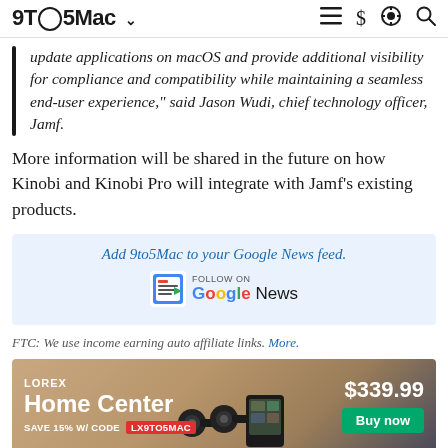9TO5Mac
update applications on macOS and provide additional visibility for compliance and compatibility while maintaining a seamless end-user experience," said Jason Wudi, chief technology officer, Jamf.
More information will be shared in the future on how Kinobi and Kinobi Pro will integrate with Jamf's existing products.
[Figure (infographic): Add 9to5Mac to your Google News feed. Follow on Google News badge.]
FTC: We use income earning auto affiliate links. More.
[Figure (infographic): Lorex Home Center advertisement. Save 15% w/ code LX9TO5MAC. $339.99 Buy now.]